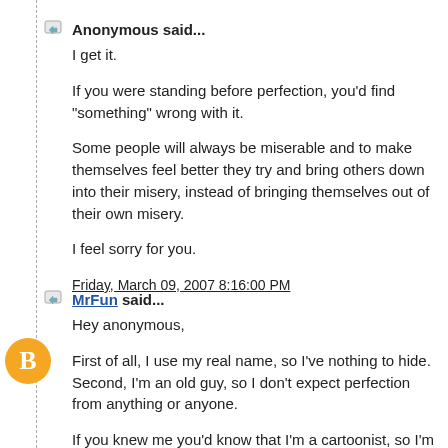Anonymous said...
I get it.
If you were standing before perfection, you'd find "something" wrong with it.
Some people will always be miserable and to make themselves feel better they try and bring others down into their misery, instead of bringing themselves out of their own misery.
I feel sorry for you.
Friday, March 09, 2007 8:16:00 PM
MrFun said...
Hey anonymous,
First of all, I use my real name, so I've nothing to hide. Second, I'm an old guy, so I don't expect perfection from anything or anyone.
If you knew me you'd know that I'm a cartoonist, so I'm Hardly bitte or miserable. It's just that I've been around a lot longer than you have, and perhaps know a little bit more.